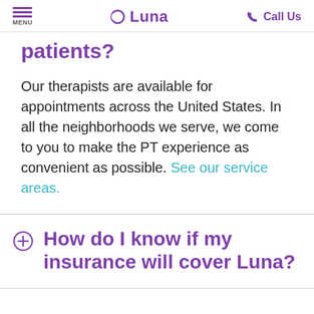MENU | Luna | Call Us
patients?
Our therapists are available for appointments across the United States. In all the neighborhoods we serve, we come to you to make the PT experience as convenient as possible. See our service areas.
How do I know if my insurance will cover Luna?